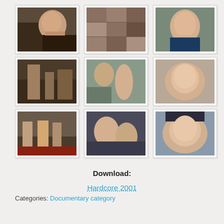[Figure (photo): Grid of 9 video thumbnail images arranged in 3 rows of 3]
Download:
Hardcore 2001
Categories: Documentary category